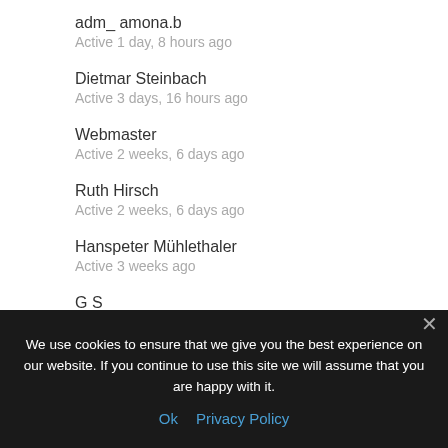adm_ amona.b
Active 1 day, 8 hours ago
Dietmar Steinbach
Active 3 days, 16 hours ago
Webmaster
Active 2 weeks, 6 days ago
Ruth Hirsch
Active 2 weeks, 6 days ago
Hanspeter Mühlethaler
Active 3 weeks ago
G S
Active 1 month, 2 weeks ago
We use cookies to ensure that we give you the best experience on our website. If you continue to use this site we will assume that you are happy with it.
Ok  Privacy Policy